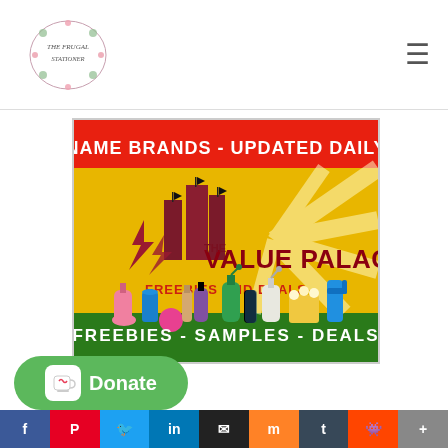The Frugal Stationers (logo) with hamburger menu
[Figure (illustration): The Value Palace advertisement banner showing 'NAME BRANDS - UPDATED DAILY' in white bold text on red background, a city skyline silhouette, lightning bolt logos, product photos including cleaning sprays, bottles, cans, and 'FREEBIES - SAMPLES - DEALS' text on dark green banner at bottom]
[Figure (illustration): Ko-fi green rounded Donate button with cup icon on left side above social sharing bar]
SHARES | Facebook | Pinterest | Twitter | LinkedIn | Email | Mix | Tumblr | Reddit | Plus